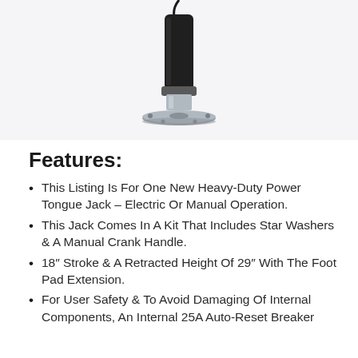[Figure (photo): Heavy-duty electric power tongue jack product photo showing a black cylindrical jack with a round metal base plate and cable]
Features:
This Listing Is For One New Heavy-Duty Power Tongue Jack – Electric Or Manual Operation.
This Jack Comes In A Kit That Includes Star Washers & A Manual Crank Handle.
18″ Stroke & A Retracted Height Of 29″ With The Foot Pad Extension.
For User Safety & To Avoid Damaging Of Internal Components, An Internal 25A Auto-Reset Breaker